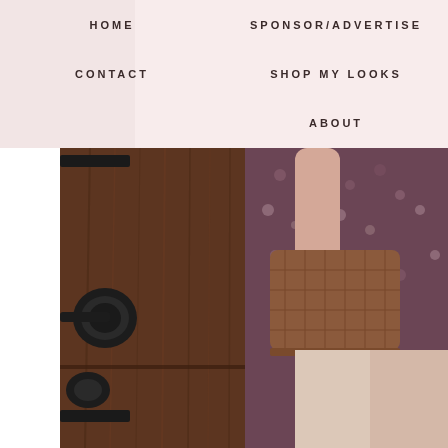[Figure (photo): Fashion photograph showing lower half of woman in floral dark pink/mauve dress holding a brown quilted leather clutch bag, standing in front of an ornate dark wood door with black iron hardware]
HOME
SPONSOR/ADVERTISE
CONTACT
SHOP MY LOOKS
ABOUT